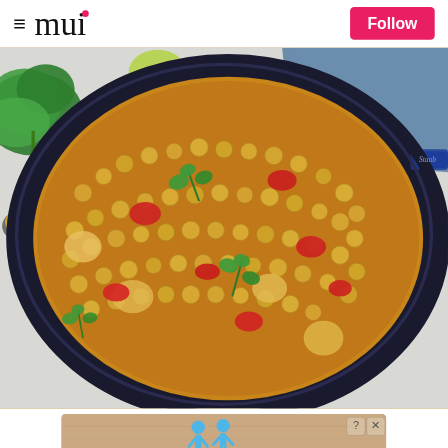≡ mui  Follow
[Figure (photo): Overhead view of a blue Staub cast iron pan/skillet filled with lentil chickpea curry with red tomatoes and fresh cilantro garnish, surrounded by fresh herbs, lime wedges, and spices on a light surface]
[Figure (screenshot): Advertisement banner with tan/wood background showing two blue cartoon figures and bold white text reading 'Hold and Move', with close and help buttons in the top-right corner]